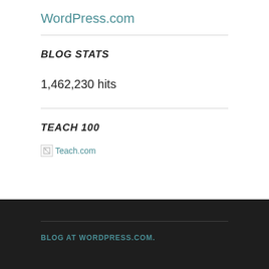WordPress.com
BLOG STATS
1,462,230 hits
TEACH 100
[Figure (other): Broken image placeholder for Teach.com logo/badge]
BLOG AT WORDPRESS.COM.